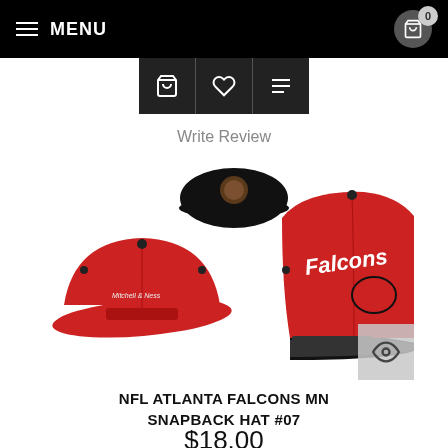MENU
Write Review
[Figure (photo): Two Atlanta Falcons red and black snapback hats shown from front and back angles, Mitchell & Ness branded]
NFL ATLANTA FALCONS MN SNAPBACK HAT #07
$18.00